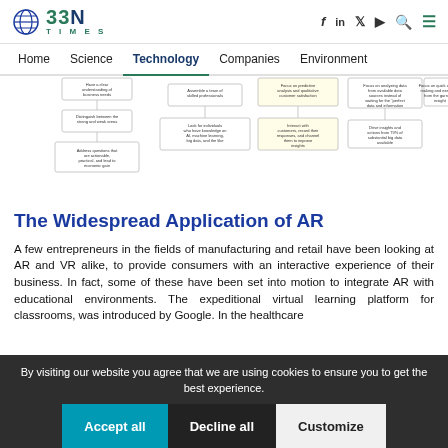BBN Times - Home | Science | Technology | Companies | Environment
[Figure (flowchart): A multi-column flowchart diagram showing business/data science process steps in boxes with connecting lines. Columns include: business needs understanding, team assembly, customer satisfaction focus, data analysis, and quick decision making steps.]
The Widespread Application of AR
A few entrepreneurs in the fields of manufacturing and retail have been looking at AR and VR alike, to provide consumers with an interactive experience of their business. In fact, some of these have been set into motion to integrate AR with educational environments. The expeditional virtual learning platform for classrooms, was introduced by Google. In the healthcare
By visiting our website you agree that we are using cookies to ensure you to get the best experience.